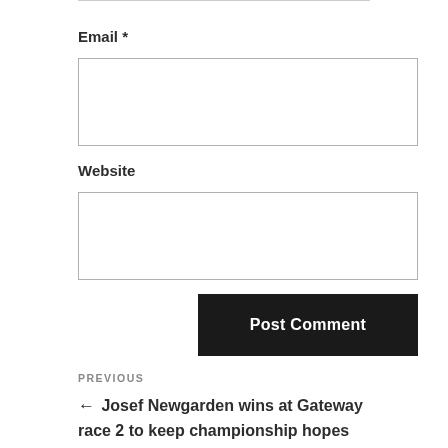Email *
Website
Post Comment
PREVIOUS
← Josef Newgarden wins at Gateway race 2 to keep championship hopes alive